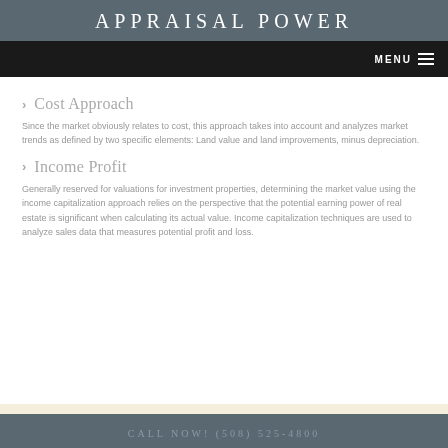APPRAISAL POWER
Cost Approach
Since the market obviously relates to cost, this approach takes into account and analyzes market trends as defined by two specific elements: Land value and land improvements, minus depreciation.
Income Profit
Generally reserved for valuations for investment properties, determining the market value using the income capitalization approach relies on the perspective that the potential earning power of real estate is significant when calculating its actual value. Income capitalization techniques are used to analyze sales data that measures potential profit and loss.
CALL NOW! (508) 525-4800